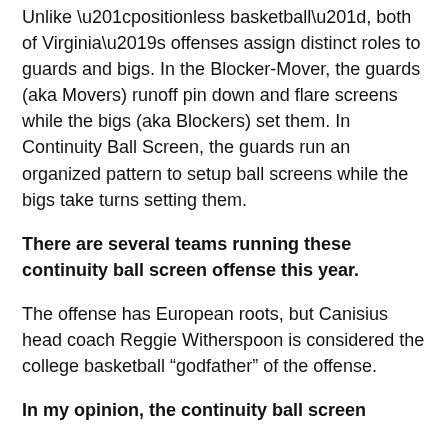Unlike “positionless basketball”, both of Virginia’s offenses assign distinct roles to guards and bigs. In the Blocker-Mover, the guards (aka Movers) runoff pin down and flare screens while the bigs (aka Blockers) set them. In Continuity Ball Screen, the guards run an organized pattern to setup ball screens while the bigs take turns setting them.
There are several teams running these continuity ball screen offense this year.
The offense has European roots, but Canisius head coach Reggie Witherspoon is considered the college basketball “godfather” of the offense.
In my opinion, the continuity ball screen